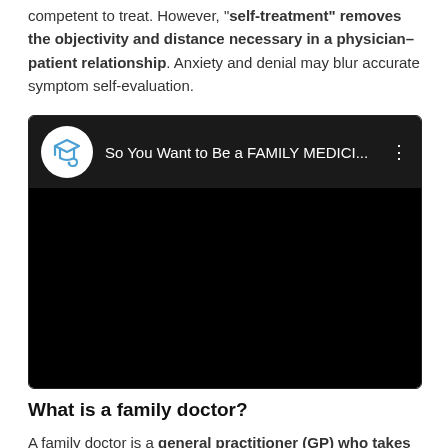competent to treat. However, "self-treatment" removes the objectivity and distance necessary in a physician–patient relationship. Anxiety and denial may blur accurate symptom self-evaluation.
[Figure (screenshot): Embedded YouTube-style video thumbnail showing a dark/black player with a channel logo (graduation cap with stethoscope icon in a circle) and title 'So You Want to Be a FAMILY MEDICI...' with a three-dot menu icon.]
What is a family doctor?
A family doctor is a general practitioner (GP) who takes